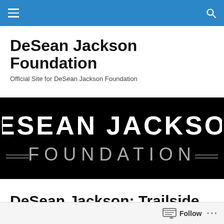Navigation bar with menu and search icons
DeSean Jackson Foundation
Official Site for DeSean Jackson Foundation
[Figure (logo): DeSean Jackson Foundation logo — white bold text 'DESEAN JACKSON' on black background with 'FOUNDATION' below in grey spaced letters with decorative horizontal lines]
DeSean Jackson: Trailside Middle School, Ashburn, VA, Literacy Forum
Follow